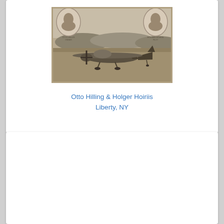[Figure (photo): A vintage black-and-white photograph of an early monoplane aircraft on an airfield, with two oval portrait insets in the upper left and upper right corners showing Otto Hilling and Holger Hoiriis. Mountains or hills are visible in the background.]
Otto Hilling & Holger Hoiriis
Liberty, NY